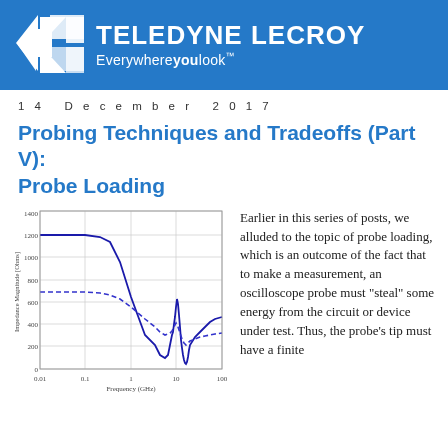[Figure (logo): Teledyne LeCroy logo with blue background, white geometric arrow icon and text 'TELEDYNE LECROY Everywhereyoulook']
14 December 2017
Probing Techniques and Tradeoffs (Part V): Probe Loading
[Figure (continuous-plot): Line plot showing Impedance Magnitude (Ohms) vs Frequency (GHz) from 0.01 to 100 GHz. Solid blue line starts near 1200 Ohms at low frequency, drops sharply around 1-10 GHz, dips to near 100 Ohms around 20 GHz, then rises. Dashed blue line starts near 700 Ohms, gently decreases, dips around 10-20 GHz to ~300 Ohms.]
Earlier in this series of posts, we alluded to the topic of probe loading, which is an outcome of the fact that to make a measurement, an oscilloscope probe must "steal" some energy from the circuit or device under test. Thus, the probe's tip must have a finite